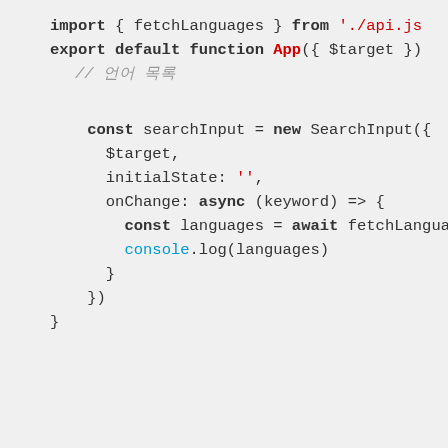import { fetchLanguages } from './api.js
export default function App({ $target })
  // 언어 목록

  const searchInput = new SearchInput({
    $target,
    initialState: '',
    onChange: async (keyword) => {
      const languages = await fetchLangua
      console.log(languages)
    }
  })
}